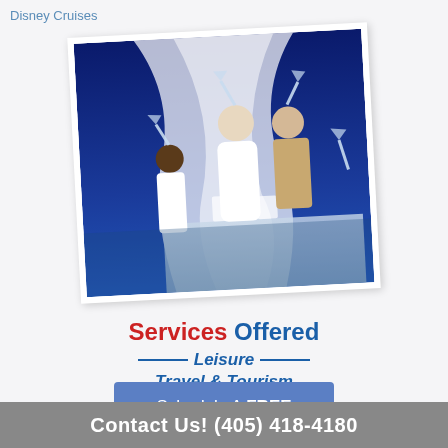Disney Cruises
[Figure (photo): Wedding celebration photo showing a bride in white dress and groom/guests raising champagne glasses at an outdoor beach or waterfront venue with white fabric draping in the background. The photo is displayed as a polaroid-style card with slight rotation.]
Services Offered Leisure Travel & Tourism
Schedule A FREE Consultation
Contact Us! (405) 418-4180